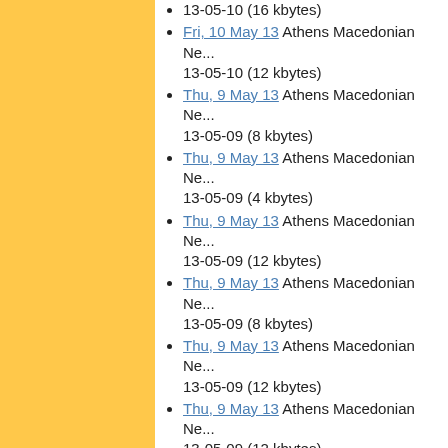13-05-10 (16 kbytes)
Fri, 10 May 13 Athens Macedonian Ne... 13-05-10 (12 kbytes)
Thu, 9 May 13 Athens Macedonian Ne... 13-05-09 (8 kbytes)
Thu, 9 May 13 Athens Macedonian Ne... 13-05-09 (4 kbytes)
Thu, 9 May 13 Athens Macedonian Ne... 13-05-09 (12 kbytes)
Thu, 9 May 13 Athens Macedonian Ne... 13-05-09 (8 kbytes)
Thu, 9 May 13 Athens Macedonian Ne... 13-05-09 (12 kbytes)
Thu, 9 May 13 Athens Macedonian Ne... 13-05-09 (12 kbytes)
Thu, 9 May 13 Athens Macedonian Ne... 13-05-09 (20 kbytes)
Thu, 9 May 13 Athens Macedonian Ne... 13-05-09 (20 kbytes)
Wed, 8 May 13 Athens Macedonian Ne... 13-05-08 (4 kbytes)
Wed, 8 May 13 Athens Macedonian Ne... 13-05-08 (8 kbytes)
Wed, 8 May 13 Athens Macedonian Ne... 13-05-08 (8 kbytes)